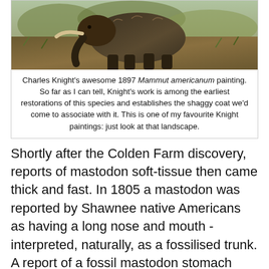[Figure (illustration): A painting of a mastodon in a landscape, partially visible at top of image (cropped).]
Charles Knight's awesome 1897 Mammut americanum painting. So far as I can tell, Knight's work is among the earliest restorations of this species and establishes the shaggy coat we'd come to associate with it. This is one of my favourite Knight paintings: just look at that landscape.
Shortly after the Colden Farm discovery, reports of mastodon soft-tissue then came thick and fast. In 1805 a mastodon was reported by Shawnee native Americans as having a long nose and mouth - interpreted, naturally, as a fossilised trunk. A report of a fossil mastodon stomach with gut content was reported at around the same time, as were more specimens with small amounts of hairy skin. Especially large sheets of skin were reported in 1839. These were reportedly so well preserved that they included arteries and sinew, but were too fragile to collect in one piece - only small fragments could be extracted. Collectively, such remains formed a significant dataset regarding mastodon soft-tissues, from internal organs to external features. They are the seed from which the concept of hairy, brown mastodons grew, and by the end of the century hairy mastodons were described in textbooks